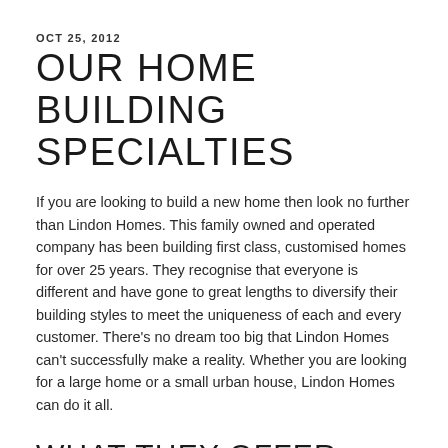OCT 25, 2012
OUR HOME BUILDING SPECIALTIES
If you are looking to build a new home then look no further than Lindon Homes. This family owned and operated company has been building first class, customised homes for over 25 years. They recognise that everyone is different and have gone to great lengths to diversify their building styles to meet the uniqueness of each and every customer. There’s no dream too big that Lindon Homes can’t successfully make a reality. Whether you are looking for a large home or a small urban house, Lindon Homes can do it all.
WHAT THEY OFFER